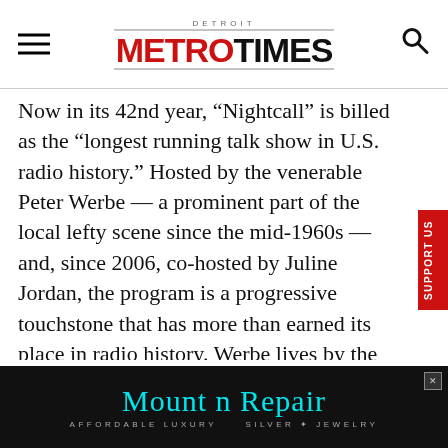DETROIT METRO TIMES
Now in its 42nd year, “Nightcall” is billed as the “longest running talk show in U.S. radio history.” Hosted by the venerable Peter Werbe — a prominent part of the local lefty scene since the mid-1960s — and, since 2006, co-hosted by Juline Jordan, the program is a progressive touchstone that has more than earned its place in radio history. Werbe lives by the motto “Thou Shall Question Authority,” and he drives the hard-core right-wingers completely bonkers. Gotta love that. And for those who can’t keep their ears open long enough to catch a program
[Figure (other): Mount n Repair advertisement banner — black background, teal/cyan cursive logo text reading 'Mount n Repair', subtitle 'AFFORDABLE LUXURY  SILVER JEWELRY']